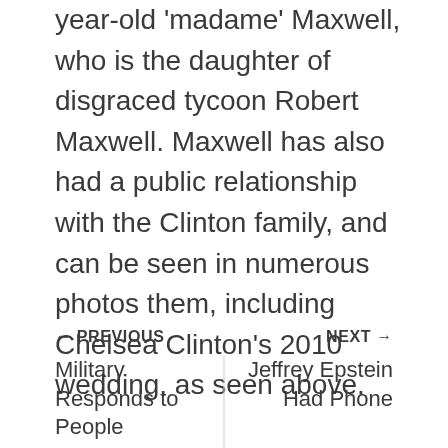year-old 'madame' Maxwell, who is the daughter of disgraced tycoon Robert Maxwell. Maxwell has also had a public relationship with the Clinton family, and can be seen in numerous photos them, including Chelsea Clinton's 2010 wedding, as seen above.
← PREVIOUS | NEXT → | Military Responds to People... | Jeffrey Epstein Had Phone...